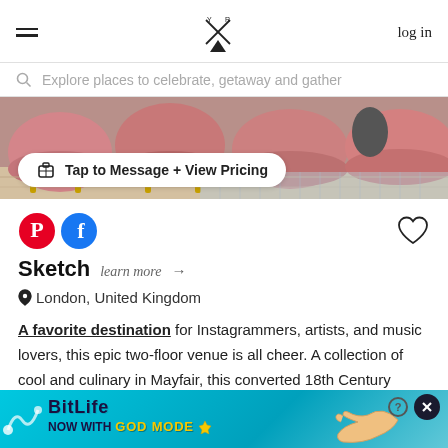log in
Explore places to celebrate, getaway and gather
[Figure (photo): Interior of Sketch venue showing pink velvet seating]
Tap to Message + View Pricing
[Figure (logo): Pinterest and Facebook social icons, heart/favorite icon]
Sketch
learn more →
London, United Kingdom
A favorite destination for Instagrammers, artists, and music lovers, this epic two-floor venue is all cheer. A collection of cool and culinary in Mayfair, this converted 18th Century building is adored b…
[Figure (screenshot): BitLife advertisement banner: NOW WITH GOD MODE]